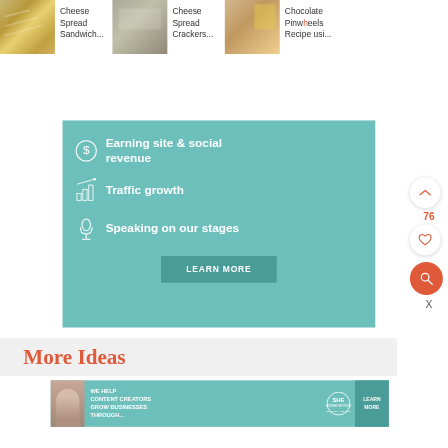[Figure (screenshot): Recipe card thumbnails strip showing three recipe cards: 'Cheese Spread Sandwich...', 'Cheese Spread Crackers...', 'Chocolate Pinwheels Recipe usi...' with thumbnail images on the left of each title]
[Figure (screenshot): Black Subscribe button]
[Figure (infographic): Teal promotional banner with three icon-text rows: dollar sign icon with 'Earning site & social revenue', bar chart icon with 'Traffic growth', microphone icon with 'Speaking on our stages', and a 'LEARN MORE' button]
[Figure (screenshot): Right side floating action buttons: upward chevron button, '76' count label, heart button, and orange search button with X close button]
[Figure (screenshot): More Ideas section header in coral/orange text on light gray background]
[Figure (infographic): Bottom advertisement banner for SHE Partner Network: 'We help content creators grow businesses through...' with LEARN MORE button]